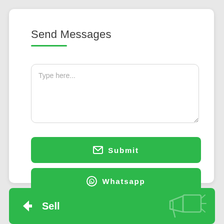Send Messages
[Figure (screenshot): Text input area with placeholder 'Type here...']
[Figure (infographic): Green Submit button with envelope icon]
[Figure (infographic): Green Whatsapp button with WhatsApp icon]
[Figure (infographic): Green Sell bar at bottom with back arrow icon and megaphone illustration]